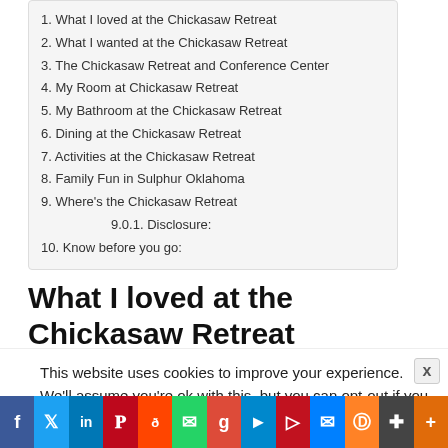1. What I loved at the Chickasaw Retreat
2. What I wanted at the Chickasaw Retreat
3. The Chickasaw Retreat and Conference Center
4. My Room at Chickasaw Retreat
5. My Bathroom at the Chickasaw Retreat
6. Dining at the Chickasaw Retreat
7. Activities at the Chickasaw Retreat
8. Family Fun in Sulphur Oklahoma
9. Where's the Chickasaw Retreat
9.0.1. Disclosure:
10. Know before you go:
What I loved at the Chickasaw Retreat
This website uses cookies to improve your experience. We'll assume you're ok with this, but you can opt-out if you wis